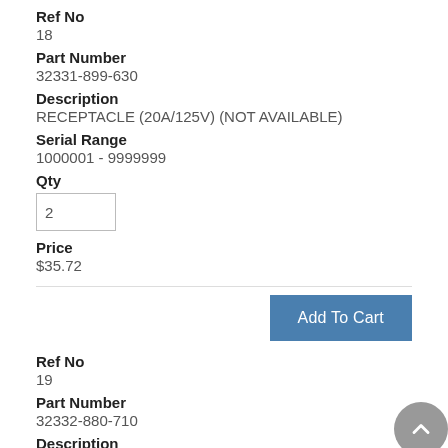Ref No
18
Part Number
32331-899-630
Description
RECEPTACLE (20A/125V) (NOT AVAILABLE)
Serial Range
1000001 - 9999999
Qty
2
Price
$35.72
Ref No
19
Part Number
32332-880-710
Description
RECEPTACLE (30A/125V)